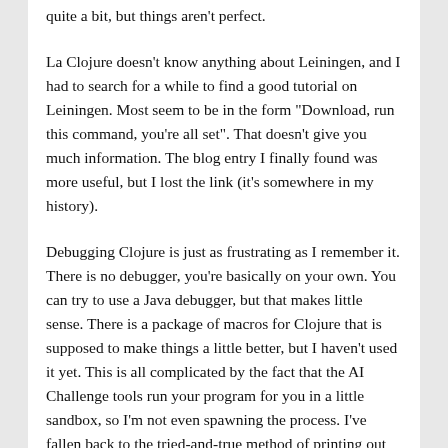quite a bit, but things aren't perfect.
La Clojure doesn't know anything about Leiningen, and I had to search for a while to find a good tutorial on Leiningen. Most seem to be in the form "Download, run this command, you're all set". That doesn't give you much information. The blog entry I finally found was more useful, but I lost the link (it's somewhere in my history).
Debugging Clojure is just as frustrating as I remember it. There is no debugger, you're basically on your own. You can try to use a Java debugger, but that makes little sense. There is a package of macros for Clojure that is supposed to make things a little better, but I haven't used it yet. This is all complicated by the fact that the AI Challenge tools run your program for you in a little sandbox, so I'm not even spawning the process. I've fallen back to the tried-and-true method of printing out values I'm interested in, which isn't ideal. Leiningen supports running tests, so as I'm starting to get a grip on my program I'm going to have try writing some soon.